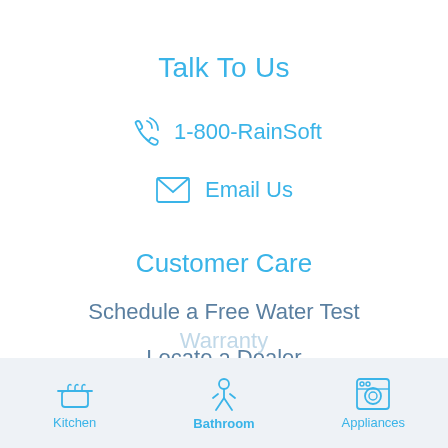Talk To Us
1-800-RainSoft
Email Us
Customer Care
Schedule a Free Water Test
Locate a Dealer
Product Manuals
Warranty
Kitchen   Bathroom   Appliances